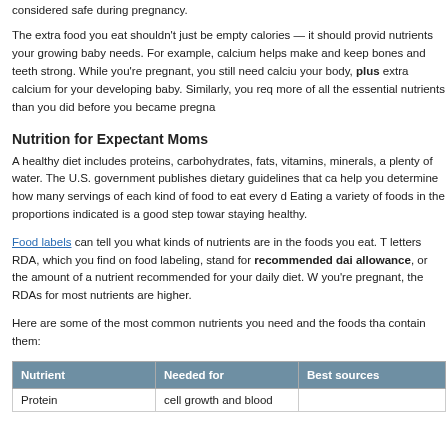considered safe during pregnancy.
The extra food you eat shouldn't just be empty calories — it should provide nutrients your growing baby needs. For example, calcium helps make and keep bones and teeth strong. While you're pregnant, you still need calcium your body, plus extra calcium for your developing baby. Similarly, you require more of all the essential nutrients than you did before you became pregnant.
Nutrition for Expectant Moms
A healthy diet includes proteins, carbohydrates, fats, vitamins, minerals, and plenty of water. The U.S. government publishes dietary guidelines that can help you determine how many servings of each kind of food to eat every day. Eating a variety of foods in the proportions indicated is a good step toward staying healthy.
Food labels can tell you what kinds of nutrients are in the foods you eat. The letters RDA, which you find on food labeling, stand for recommended daily allowance, or the amount of a nutrient recommended for your daily diet. When you're pregnant, the RDAs for most nutrients are higher.
Here are some of the most common nutrients you need and the foods that contain them:
| Nutrient | Needed for | Best sources |
| --- | --- | --- |
| Protein | cell growth and blood... |  |